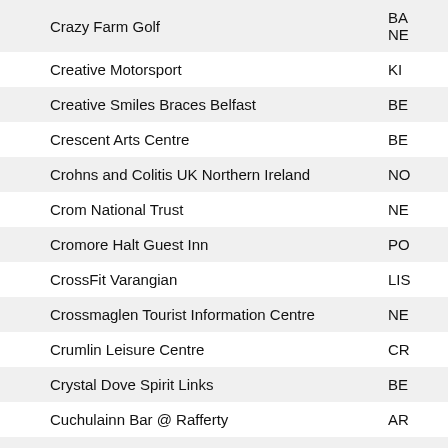| Name | Code |
| --- | --- |
| Crazy Farm Golf | BA NE |
| Creative Motorsport | KI |
| Creative Smiles Braces Belfast | BE |
| Crescent Arts Centre | BE |
| Crohns and Colitis UK Northern Ireland | NO |
| Crom National Trust | NE |
| Cromore Halt Guest Inn | PO |
| CrossFit Varangian | LIS |
| Crossmaglen Tourist Information Centre | NE |
| Crumlin Leisure Centre | CR |
| Crystal Dove Spirit Links | BE |
| Cuchulainn Bar @ Rafferty | AR |
| Culture Merge Summer Festival | BE |
| Culture Night Belfast | BE |
| Culturlann Doire | DE |
| Culturlann Mc Adam Ó Fiaich | BE |
| Currans Bar & Seafood Steakhouse | AR |